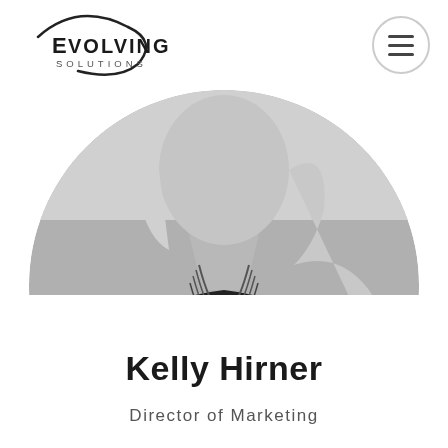[Figure (logo): Evolving Solutions company logo with circular arc and company name]
[Figure (photo): Black and white circular (semi-circle) portrait photo of Kelly Hirner, showing neck and shoulders, wearing a black top and layered necklace, with light hair]
Kelly Hirner
Director of Marketing